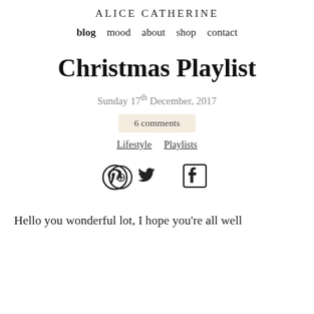ALICE CATHERINE
blog  mood  about  shop  contact
Christmas Playlist
Sunday 17th December, 2017
6 comments
Lifestyle  Playlists
[Figure (other): Social share icons: Pinterest, Twitter, Facebook]
Hello you wonderful lot, I hope you're all well